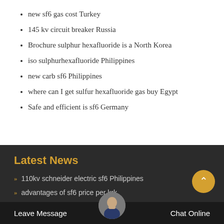new sf6 gas cost Turkey
145 kv circuit breaker Russia
Brochure sulphur hexafluoride is a North Korea
iso sulphurhexafluoride Philippines
new carb sf6 Philippines
where can I get sulfur hexafluoride gas buy Egypt
Safe and efficient is sf6 Germany
Latest News
110kv schneider electric sf6 Philippines
advantages of sf6 price per k... rk
Brochure hexafluoride North America
Leave Message   Chat Online